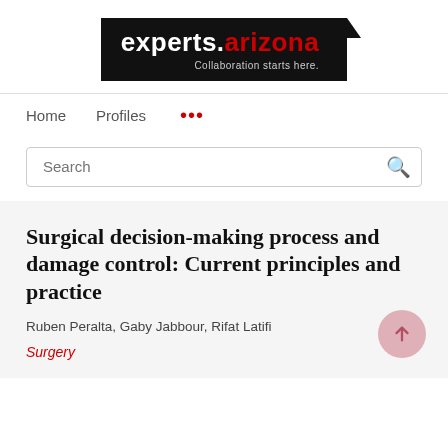[Figure (logo): experts.arizona logo with tagline 'Collaboration starts here.' on black background]
Home   Profiles   ...
Search
Surgical decision-making process and damage control: Current principles and practice
Ruben Peralta, Gaby Jabbour, Rifat Latifi
Surgery